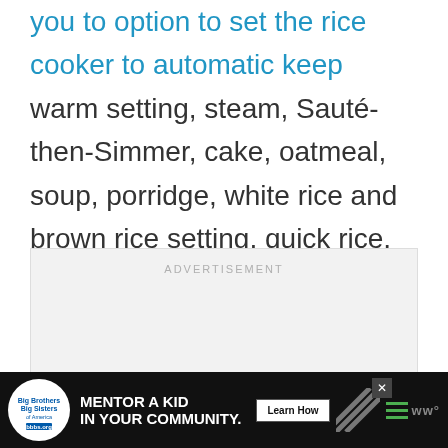you to option to set the rice cooker to automatic keep warm setting, steam, Sauté-then-Simmer, cake, oatmeal, soup, porridge, white rice and brown rice setting, quick rice, stew, and slow cook functions.
[Figure (other): Advertisement placeholder box with 'ADVERTISEMENT' label in light gray]
[Figure (other): Bottom banner ad: Big Brothers Big Sisters logo, 'MENTOR A KID IN YOUR COMMUNITY.' text, Learn How button, diagonal stripe graphic, hamburger menu, close button]